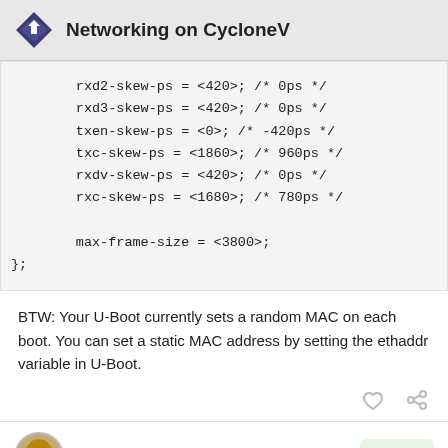Networking on CycloneV
rxd2-skew-ps = <420>; /* 0ps */
        rxd3-skew-ps = <420>; /* 0ps */
        txen-skew-ps = <0>; /* -420ps */
        txc-skew-ps = <1860>; /* 960ps */
        rxdv-skew-ps = <420>; /* 0ps */
        rxc-skew-ps = <1680>; /* 780ps */

        max-frame-size = <3800>;
};
BTW: Your U-Boot currently sets a random MAC on each boot. You can set a static MAC address by setting the ethaddr variable in U-Boot.
jackfrye11
3 / 7